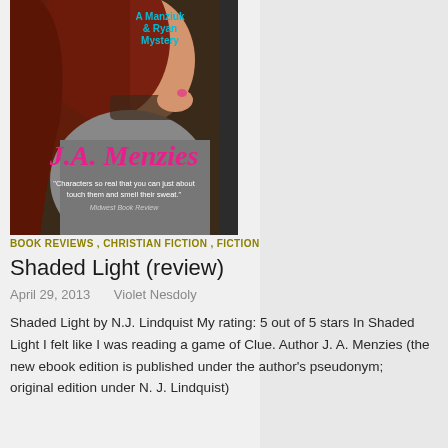[Figure (illustration): Book cover of 'Shaded Light' showing a young woman with red hair holding sunglasses, with text 'A Manziuk & Ryan Mystery', author name 'J.A. Menzies' in pink, and a quote from Midwest Book Review.]
BOOK REVIEWS , CHRISTIAN FICTION , FICTION
Shaded Light (review)
April 29, 2013   Violet Nesdoly
Shaded Light by N.J. Lindquist My rating: 5 out of 5 stars In Shaded Light I felt like I was reading a game of Clue. Author J. A. Menzies (the new ebook edition is published under the author's pseudonym; original edition under N. J. Lindquist)